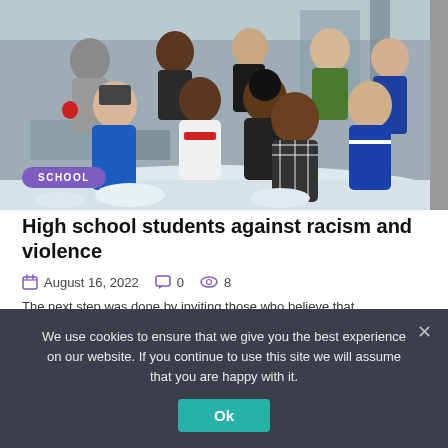[Figure (photo): Group of middle school students playing in snow outdoors, smiling at camera, wearing winter clothes]
High school students against racism and violence
August 16, 2022  0  8
The... (article preview, partially visible)
We use cookies to ensure that we give you the best experience on our website. If you continue to use this site we will assume that you are happy with it.